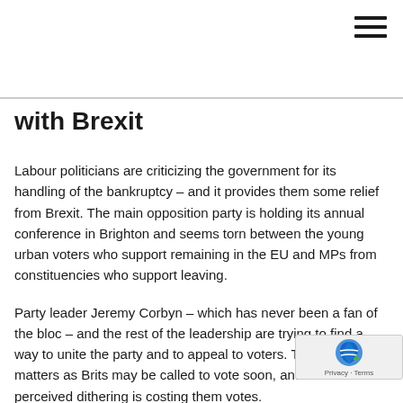[Figure (other): Hamburger menu icon (three horizontal lines) in top-right corner]
with Brexit
Labour politicians are criticizing the government for its handling of the bankruptcy – and it provides them some relief from Brexit. The main opposition party is holding its annual conference in Brighton and seems torn between the young urban voters who support remaining in the EU and MPs from constituencies who support leaving.
Party leader Jeremy Corbyn – which has never been a fan of the bloc – and the rest of the leadership are trying to find a way to unite the party and to appeal to voters. Their opinion matters as Brits may be called to vote soon, and Labour's perceived dithering is costing them votes.
The Liberal Democrats have further established them as the party of Remain by vowing to revoke Brexit w another referendum if they lead a government. The ruling